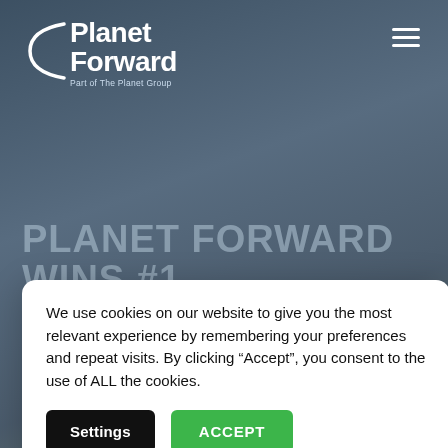[Figure (logo): Planet Forward logo with arc symbol and tagline 'Part of The Planet Group' in white on dark blue-grey background]
PLANET FORWARD WINS #1 GLOBAL SUPPLIER AWARD OF [continued]
We use cookies on our website to give you the most relevant experience by remembering your preferences and repeat visits. By clicking “Accept”, you consent to the use of ALL the cookies.
[Figure (other): Cookie consent modal with Settings and ACCEPT buttons]